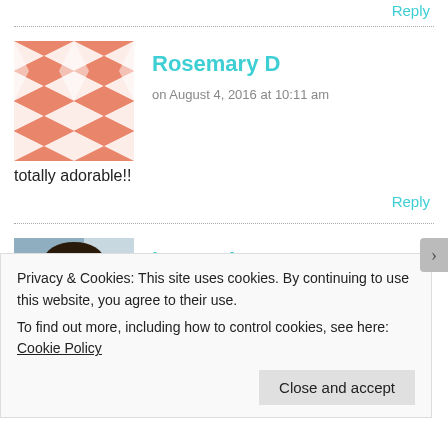Reply
[Figure (illustration): Rosemary D avatar: salmon/coral geometric quilt pattern square]
Rosemary D
on August 4, 2016 at 10:11 am
totally adorable!!
Reply
[Figure (photo): kpagenb avatar: photo of a woman with dark hair]
kpagenb
on August 4, 2016 at 10:20 am
Privacy & Cookies: This site uses cookies. By continuing to use this website, you agree to their use.
To find out more, including how to control cookies, see here: Cookie Policy
Close and accept